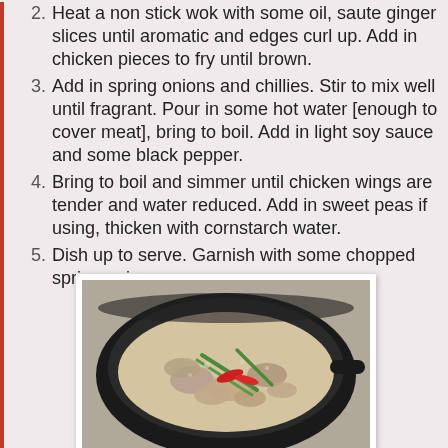2. Heat a non stick wok with some oil, saute ginger slices until aromatic and edges curl up.  Add in chicken pieces to fry until brown.
3. Add in spring onions and chillies.  Stir to mix well until fragrant.  Pour in some hot water [enough to cover meat], bring to boil.  Add in light soy sauce and some black pepper.
4. Bring to boil and simmer until chicken wings are tender and water reduced.  Add in sweet peas if using, thicken with cornstarch water.
5. Dish up to serve. Garnish with some chopped spring onions.
[Figure (photo): A black wok containing chicken pieces simmering in broth with spring onions, chillies, and other ingredients visible.]